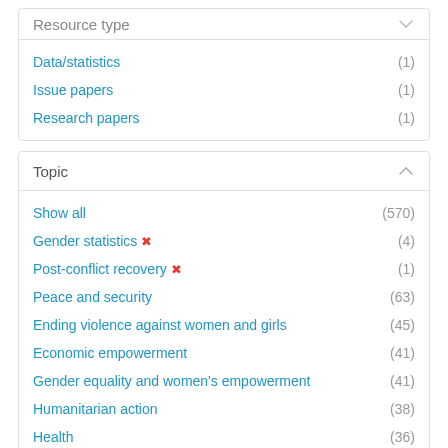Resource type
Data/statistics (1)
Issue papers (1)
Research papers (1)
Topic
Show all (570)
Gender statistics ✕ (4)
Post-conflict recovery ✕ (1)
Peace and security (63)
Ending violence against women and girls (45)
Economic empowerment (41)
Gender equality and women's empowerment (41)
Humanitarian action (38)
Health (36)
COVID-19 (34)